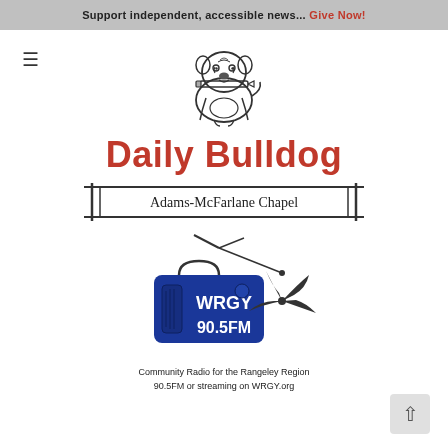Support independent, accessible news... Give Now!
[Figure (logo): Daily Bulldog mascot: cartoon bulldog holding a pencil in its mouth]
Daily Bulldog
[Figure (logo): Adams-McFarlane Chapel banner with decorative vertical bars on left and right]
[Figure (logo): WRGY 90.5FM radio station logo with antenna and pinwheel graphic. Community Radio for the Rangeley Region. 90.5FM or streaming on WRGY.org]